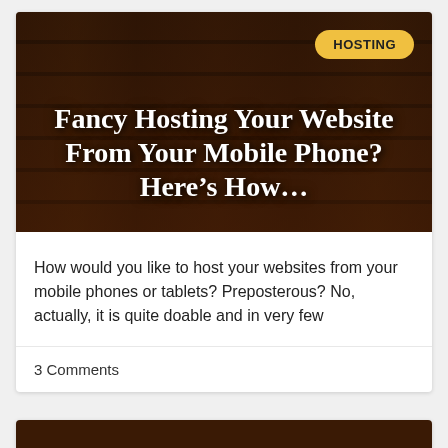[Figure (photo): Dark wood plank background hero image with a yellow 'HOSTING' badge pill in the top-right corner and bold white serif title text centered over the image.]
Fancy Hosting Your Website From Your Mobile Phone? Here’s How…
How would you like to host your websites from your mobile phones or tablets? Preposterous? No, actually, it is quite doable and in very few
3 Comments